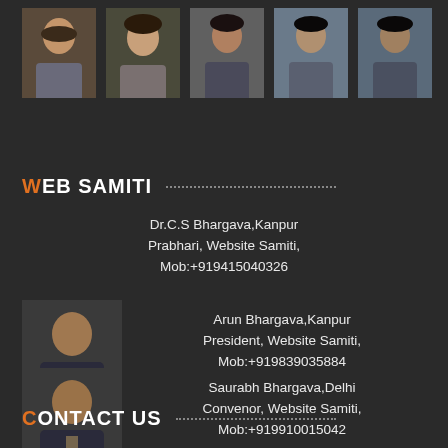[Figure (photo): Row of five portrait photos of individuals on dark background]
WEB SAMITI
Dr.C.S Bhargava,Kanpur
Prabhari, Website Samiti,
Mob:+919415040326
[Figure (photo): Portrait photo of Arun Bhargava]
Arun Bhargava,Kanpur
President, Website Samiti,
Mob:+919839035884
[Figure (photo): Portrait photo of Saurabh Bhargava]
Saurabh Bhargava,Delhi
Convenor, Website Samiti,
Mob:+919910015042
CONTACT US